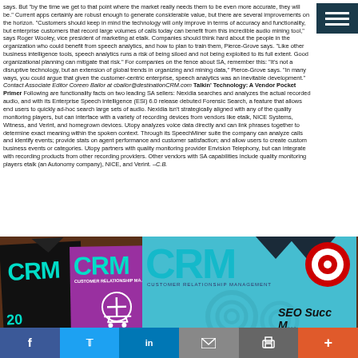says. But "by the time we get to that point where the market really needs them to be even more accurate, they will be." Current apps certainly are robust enough to generate considerable value, but there are several improvements on the horizon. "Customers should keep in mind the technology will only improve in terms of accuracy and functionality, but enterprise customers that record large volumes of calls today can benefit from this incredible audio mining tool," says Roger Wooley, vice president of marketing at etalk. Companies should think hard about the people in the organization who could benefit from speech analytics, and how to plan to train them, Pierce-Grove says. "Like other business intelligence tools, speech analytics runs a risk of being siloed and not being exploited to its full extent. Good organizational planning can mitigate that risk." For companies on the fence about SA, remember this: "It's not a disruptive technology, but an extension of global trends in organizing and mining data," Pierce-Grove says. "In many ways, you could argue that given the customer-centric enterprise, speech analytics was an inevitable development." Contact Associate Editor Coreen Bailor at cbailor@destinationCRM.com Talkin' Technology: A Vendor Pocket Primer Following are functionality facts on two leading SA sellers: Nexidia searches and analyzes the actual recorded audio, and with its Enterprise Speech Intelligence (ESI) 6.0 release debuted Forensic Search, a feature that allows end users to quickly ad-hoc search large sets of audio. Nexidia isn't strategically aligned with any of the quality monitoring players, but can interface with a variety of recording devices from vendors like etalk, NICE Systems, Witness, and Verint, and homegrown devices. Utopy analyzes voice data directly and can link phrases together to determine exact meaning within the spoken context. Through its SpeechMiner suite the company can analyze calls and identify events; provide stats on agent performance and customer satisfaction; and allow users to create custom business events or categories. Utopy partners with quality monitoring provider Envision Telephony, but can integrate with recording products from other recording providers. Other vendors with SA capabilities include quality monitoring players etalk (an Autonomy company), NICE, and Verint. –C.B.
[Figure (photo): Stack of CRM (Customer Relationship Management) magazine covers, showing multiple issues with the CRM logo in teal/cyan lettering on various colored backgrounds including black, purple, and light blue. The rightmost cover is the most prominent, showing 'SEO Success' text and a Target store logo.]